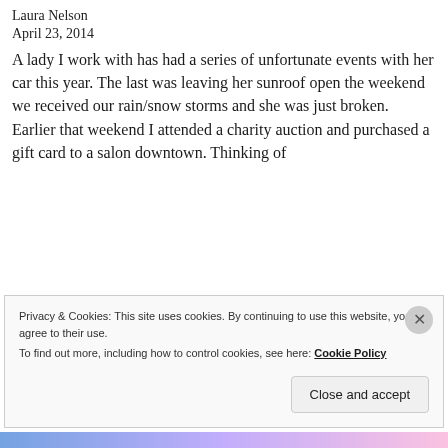Laura Nelson
April 23, 2014
A lady I work with has had a series of unfortunate events with her car this year. The last was leaving her sunroof open the weekend we received our rain/snow storms and she was just broken. Earlier that weekend I attended a charity auction and purchased a gift card to a salon downtown. Thinking of
Privacy & Cookies: This site uses cookies. By continuing to use this website, you agree to their use. To find out more, including how to control cookies, see here: Cookie Policy
Close and accept